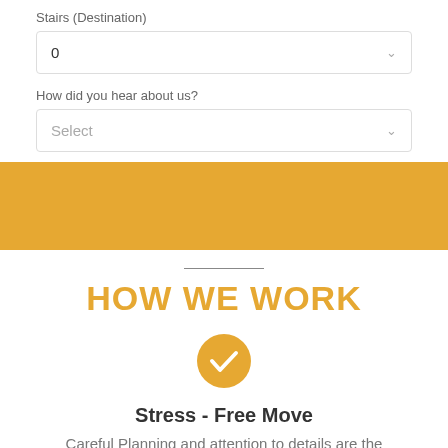Stairs (Destination)
0
How did you hear about us?
Select
HOW WE WORK
[Figure (illustration): Orange circle with white checkmark icon]
Stress - Free Move
Careful Planning and attention to details are the